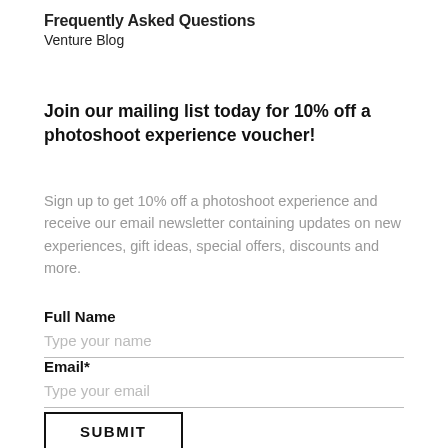Frequently Asked Questions
Venture Blog
Join our mailing list today for 10% off a photoshoot experience voucher!
Sign up to get 10% off a photoshoot experience and receive our email newsletter containing updates on new experiences, gift ideas, special offers, discounts and more.
Full Name
Type your name
Email*
Type your email
SUBMIT